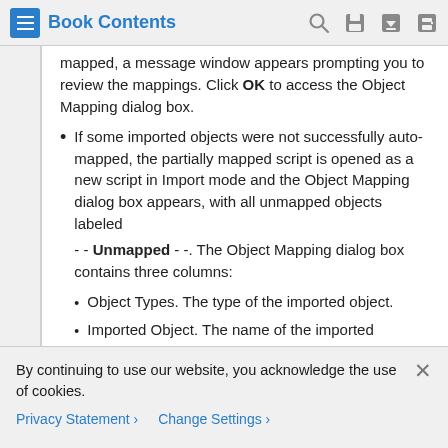Book Contents
mapped, a message window appears prompting you to review the mappings. Click OK to access the Object Mapping dialog box.
If some imported objects were not successfully auto-mapped, the partially mapped script is opened as a new script in Import mode and the Object Mapping dialog box appears, with all unmapped objects labeled
- - Unmapped - -. The Object Mapping dialog box contains three columns:
Object Types. The type of the imported object.
Imported Object. The name of the imported
By continuing to use our website, you acknowledge the use of cookies.
Privacy Statement   Change Settings